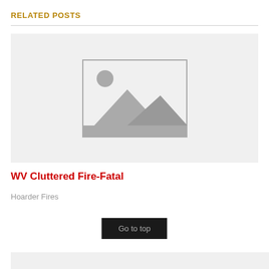RELATED POSTS
[Figure (illustration): Placeholder image with mountains and sun icon on a light gray background]
WV Cluttered Fire-Fatal
Hoarder Fires
Go to top